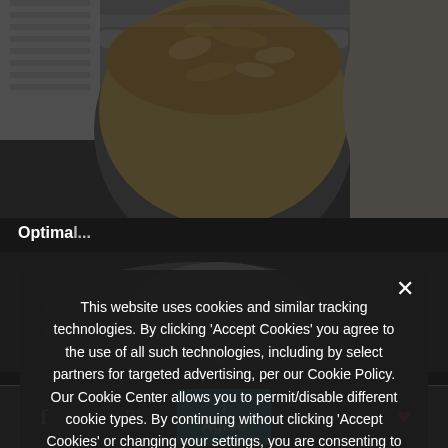[Figure (photo): Hand holding a glass jar with oatmeal/overnight oats topped with nuts and oats, with a light background]
Optima...
This website uses cookies and similar tracking technologies. By clicking 'Accept Cookies' you agree to the use of all such technologies, including by select partners for targeted advertising, per our Cookie Policy. Our Cookie Center allows you to permit/disable different cookie types. By continuing without clicking 'Accept Cookies' or changing your settings, you are consenting to receive all non-targeting cookies.
❯ Privacy Preferences
I Agree